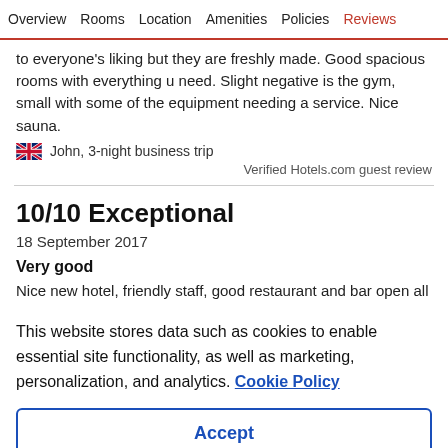Overview  Rooms  Location  Amenities  Policies  Reviews
to everyone's liking but they are freshly made. Good spacious rooms with everything u need. Slight negative is the gym, small with some of the equipment needing a service. Nice sauna.
John, 3-night business trip
Verified Hotels.com guest review
10/10 Exceptional
18 September 2017
Very good
Nice new hotel, friendly staff, good restaurant and bar open all
This website stores data such as cookies to enable essential site functionality, as well as marketing, personalization, and analytics. Cookie Policy
Accept
Deny